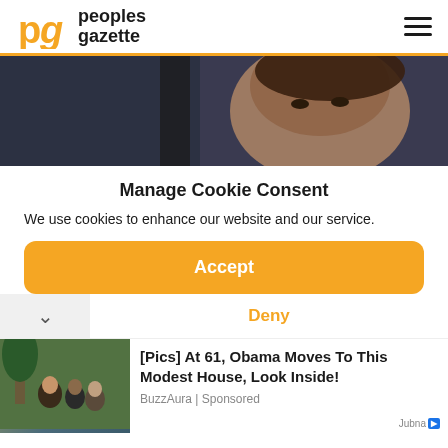peoples gazette
[Figure (photo): Close-up photo of a woman's face with dark hair, seated in what appears to a vehicle or dark interior]
Manage Cookie Consent
We use cookies to enhance our website and our service.
Accept
Deny
[Figure (photo): Photo of Obama and family members smiling outdoors]
[Pics] At 61, Obama Moves To This Modest House, Look Inside!
BuzzAura | Sponsored